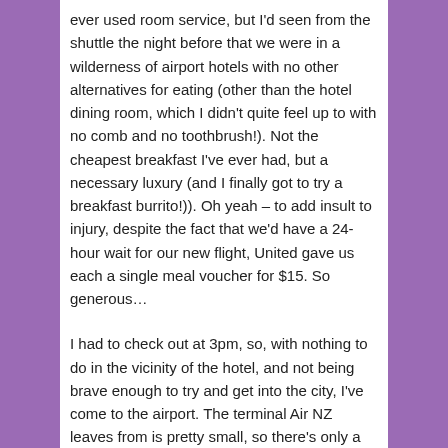ever used room service, but I'd seen from the shuttle the night before that we were in a wilderness of airport hotels with no other alternatives for eating (other than the hotel dining room, which I didn't quite feel up to with no comb and no toothbrush!). Not the cheapest breakfast I've ever had, but a necessary luxury (and I finally got to try a breakfast burrito!)). Oh yeah – to add insult to injury, despite the fact that we'd have a 24-hour wait for our new flight, United gave us each a single meal voucher for $15. So generous…
I had to check out at 3pm, so, with nothing to do in the vicinity of the hotel, and not being brave enough to try and get into the city, I've come to the airport. The terminal Air NZ leaves from is pretty small, so there's only a handful of shops and restaurants, but I've got several books with me (thank goodness for that visit to Borders at Dulles :-)), so I should be able to keep myself entertained until my flight boards at 10 pm.
Oh yeah, I almost forgot. When I got to the airport this